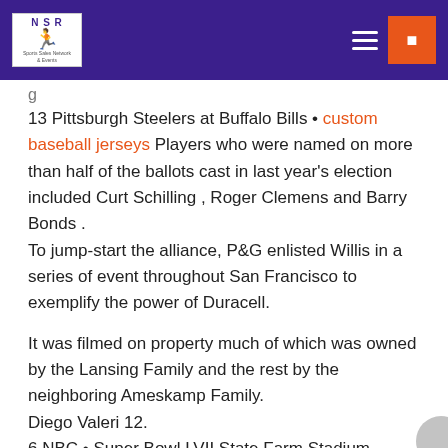NSR logo header with hamburger menu and orange button
13 Pittsburgh Steelers at Buffalo Bills • custom baseball jerseys Players who were named on more than half of the ballots cast in last year's election included Curt Schilling , Roger Clemens and Barry Bonds .
To jump-start the alliance, P&G enlisted Willis in a series of event throughout San Francisco to exemplify the power of Duracell.
It was filmed on property much of which was owned by the Lansing Family and the rest by the neighboring Ameskamp Family.
Diego Valeri 12.
6 NBC • Super Bowl LVII State Farm Stadium Glendale, AZ Feb.
Jonathan dos Santos 21.